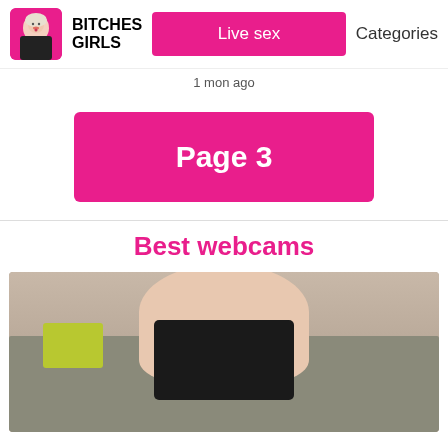BITCHES GIRLS | Live sex | Categories
1 mon ago
Page 3
Best webcams
[Figure (photo): Webcam thumbnail showing a woman in a black top on a grey couch with a yellow-green pillow]